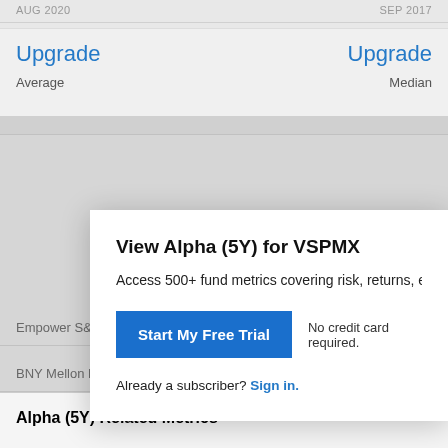AUG 2020
SEP 2017
Upgrade
Average
Upgrade
Median
View Alpha (5Y) for VSPMX
Access 500+ fund metrics covering risk, returns, exposu
Start My Free Trial
No credit card required.
Already a subscriber? Sign in.
Empower S&P Mid Cap 400® Index Instl
BNY Mellon MidCap Index I
Alpha (5Y) Related Metrics